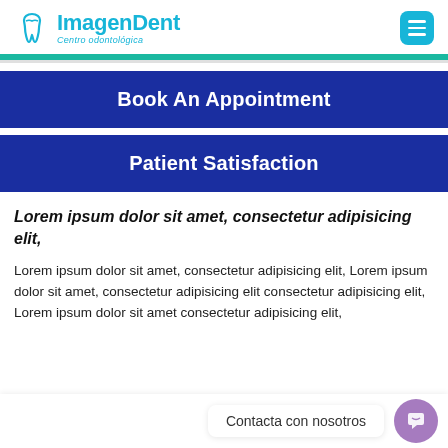ImagenDent Centro odontológica
Book An Appointment
Patient Satisfaction
Lorem ipsum dolor sit amet, consectetur adipisicing elit,
Lorem ipsum dolor sit amet, consectetur adipisicing elit, Lorem ipsum dolor sit amet, consectetur adipisicing elit consectetur adipisicing elit, Lorem ipsum dolor sit amet consectetur adipisicing elit,
Contacta con nosotros